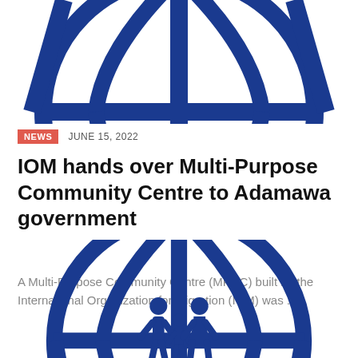[Figure (logo): IOM globe logo (top portion, cropped) — blue circular globe with latitude/longitude lines, no human figures visible]
NEWS   JUNE 15, 2022
IOM hands over Multi-Purpose Community Centre to Adamawa government
A Multi-Purpose Community Centre (MPCC) built by the International Organization for Migration (IOM) was ...
[Figure (logo): IOM globe logo (bottom portion) — blue circular globe with latitude/longitude lines and three human figures (adult male, child, adult female) in the center]